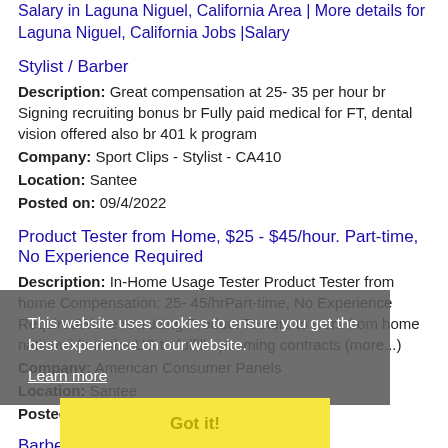Salary in Laguna Niguel, California Area | More details for Laguna Niguel, California Jobs |Salary
Stylist / Barber
Description: Great compensation at 25- 35 per hour br Signing recruiting bonus br Fully paid medical for FT, dental vision offered also br 401 k program
Company: Sport Clips - Stylist - CA410
Location: Santee
Posted on: 09/4/2022
Product Tester from Home, $25 - $45/hour. Part-time, No Experience Required
Description: In-Home Usage Tester Product Tester from home Compensation: 25- 45/hrPart-time, No Experience RequiredWe're recruiting Product Testers to work from home nationwide in the US to fulfill upcoming contracts (more...)
Company: American Consumer Panels
Location: Santee
Posted on: 09/4/2022
Barber
Description: Great compensation at 25- 35 per hour br Signing recruiting bonus br Fully paid medical for FT, dental vision offered
This website uses cookies to ensure you get the best experience on our website.
Learn more
Got it!